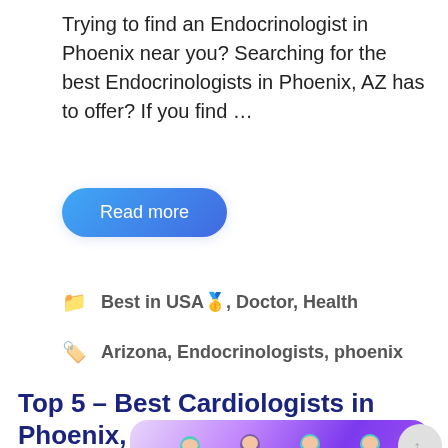Trying to find an Endocrinologist in Phoenix near you? Searching for the best Endocrinologists in Phoenix, AZ has to offer? If you find …
Read more
📁 Best in USA🥇, Doctor, Health
🏷️ Arizona, Endocrinologists, phoenix
Top 5 – Best Cardiologists in Phoenix, AZ 🥇
[Figure (photo): Illustration of doctors/medical professionals in scrubs and masks, partial view at bottom of page]